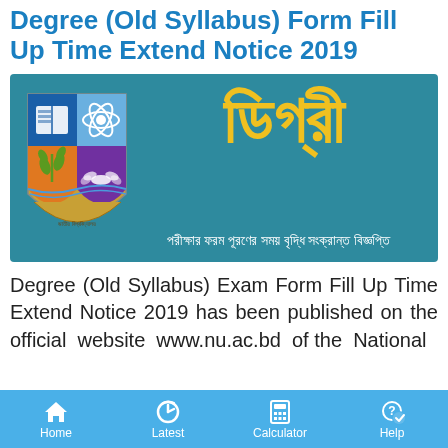Degree (Old Syllabus) Form Fill Up Time Extend Notice 2019
[Figure (illustration): Banner image with teal background showing National University Bangladesh shield/crest on the left, large Bengali text 'ডিগ্রী' in yellow, and Bengali subtitle text 'পরীক্ষার ফরম পূরণের সময় বৃদ্ধি সংক্রান্ত বিজ্ঞপ্তি' in white below]
Degree (Old Syllabus) Exam Form Fill Up Time Extend Notice 2019 has been published on the official website www.nu.ac.bd of the National
Home   Latest   Calculator   Help